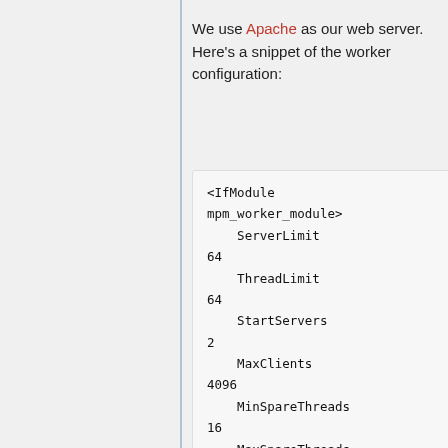We use Apache as our web server. Here's a snippet of the worker configuration:
<IfModule mpm_worker_module>
    ServerLimit         64
    ThreadLimit         64
    StartServers        2
    MaxClients          4096
    MinSpareThreads     16
    MaxSpareThreads     48
    ThreadsPerChild     64
    MaxRequestsPerChild 0
</IfModule>